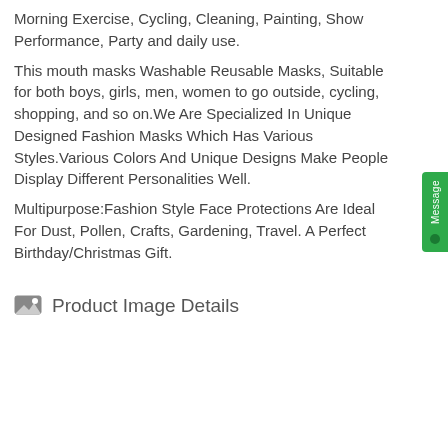Morning Exercise, Cycling, Cleaning, Painting, Show Performance, Party and daily use.
This mouth masks Washable Reusable Masks, Suitable for both boys, girls, men, women to go outside, cycling, shopping, and so on.We Are Specialized In Unique Designed Fashion Masks Which Has Various Styles.Various Colors And Unique Designs Make People Display Different Personalities Well.
Multipurpose:Fashion Style Face Protections Are Ideal For Dust, Pollen, Crafts, Gardening, Travel. A Perfect Birthday/Christmas Gift.
Product Image Details